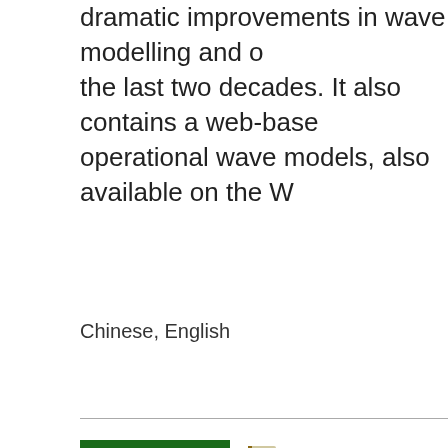dramatic improvements in wave modelling and o the last two decades. It also contains a web-base operational wave models, also available on the W
Chinese, English
[Figure (illustration): Green book cover with Russian text and colorful spine strip showing wave analysis guide]
Руководство по анализ волнения
ВМО, 2020 (Издание 2018 г.; ВМО-
This publication is the outcome o up-dating of the 1998 Guide to W Forecasting. It is designed to enh
date information and guidance material on all o